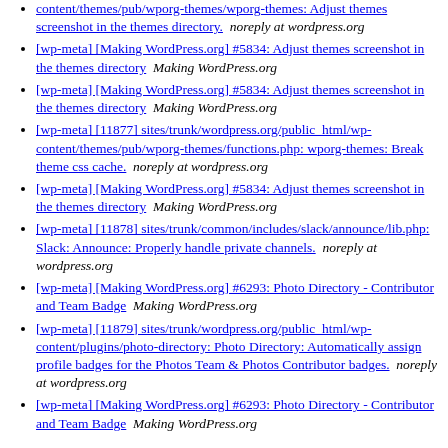content/themes/pub/wporg-themes/wporg-themes: Adjust themes screenshot in the themes directory.  noreply at wordpress.org
[wp-meta] [Making WordPress.org] #5834: Adjust themes screenshot in the themes directory  Making WordPress.org
[wp-meta] [Making WordPress.org] #5834: Adjust themes screenshot in the themes directory  Making WordPress.org
[wp-meta] [11877] sites/trunk/wordpress.org/public_html/wp-content/themes/pub/wporg-themes/functions.php: wporg-themes: Break theme css cache.  noreply at wordpress.org
[wp-meta] [Making WordPress.org] #5834: Adjust themes screenshot in the themes directory  Making WordPress.org
[wp-meta] [11878] sites/trunk/common/includes/slack/announce/lib.php: Slack: Announce: Properly handle private channels.  noreply at wordpress.org
[wp-meta] [Making WordPress.org] #6293: Photo Directory - Contributor and Team Badge  Making WordPress.org
[wp-meta] [11879] sites/trunk/wordpress.org/public_html/wp-content/plugins/photo-directory: Photo Directory: Automatically assign profile badges for the Photos Team & Photos Contributor badges.  noreply at wordpress.org
[wp-meta] [Making WordPress.org] #6293: Photo Directory - Contributor and Team Badge  Making WordPress.org